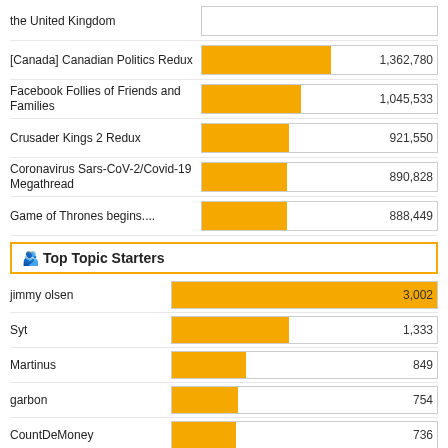the United Kingdom
[Figure (bar-chart): Top Topics]
🧑‍🤝‍🧑 Top Topic Starters
[Figure (bar-chart): Top Topic Starters]